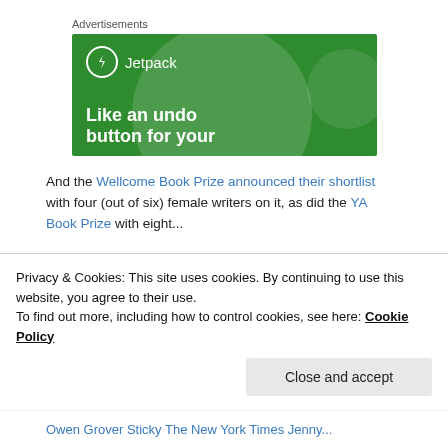Advertisements
[Figure (illustration): Jetpack advertisement banner with green background, circular design elements, Jetpack logo with lightning bolt icon, and text 'Like an undo button for your']
And the Wellcome Book Prize announced their shortlist with four (out of six) female writers on it, as did the YA Book Prize with eight...
Privacy & Cookies: This site uses cookies. By continuing to use this website, you agree to their use.
To find out more, including how to control cookies, see here: Cookie Policy
Close and accept